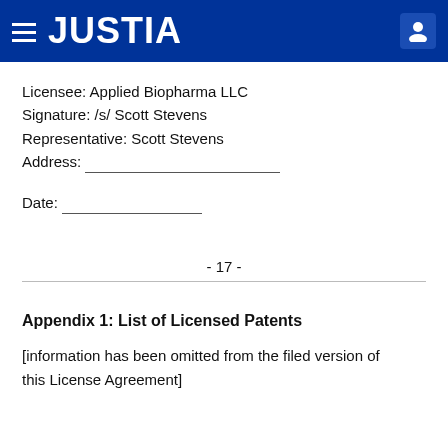JUSTIA
Licensee: Applied Biopharma LLC
Signature: /s/ Scott Stevens
Representative: Scott Stevens
Address: ___________________________
Date: ________________
- 17 -
Appendix 1: List of Licensed Patents
[information has been omitted from the filed version of this License Agreement]